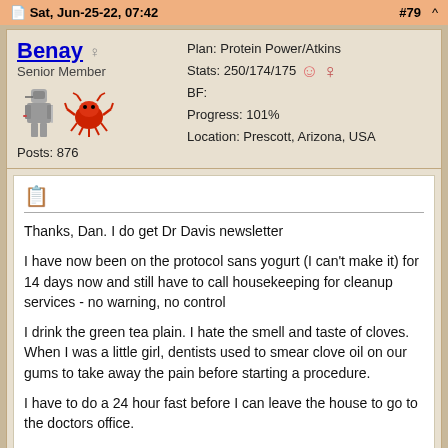Sat, Jun-25-22, 07:42   #79 ^
Benay  Senior Member  Posts: 876
Plan: Protein Power/Atkins
Stats: 250/174/175
BF:
Progress: 101%
Location: Prescott, Arizona, USA
Thanks, Dan. I do get Dr Davis newsletter

I have now been on the protocol sans yogurt (I can't make it) for 14 days now and still have to call housekeeping for cleanup services - no warning, no control

I drink the green tea plain. I hate the smell and taste of cloves. When I was a little girl, dentists used to smear clove oil on our gums to take away the pain before starting a procedure.

I have to do a 24 hour fast before I can leave the house to go to the doctors office.

I take it you recommend the AIRE2 device?

Super Gut recommends the herbal supplements for 14 days only.
Sat, Jun-05-10:01  #80 ^